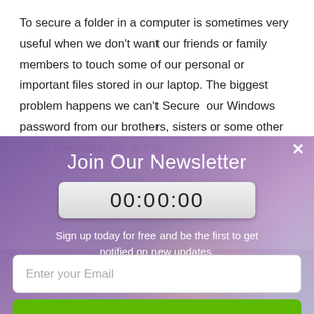To secure a folder in a computer is sometimes very useful when we don't want our friends or family members to touch some of our personal or important files stored in our laptop. The biggest problem happens we can't Secure  our Windows password from our brothers, sisters or some other family members. So, in this
[Figure (screenshot): Newsletter signup modal overlay with speedometer background image. Contains title 'Join Our Newsletter', a countdown timer showing '00:00:00', descriptive text 'Sign up today for free and be the first to get notified on new updates.', an email input field, and a green 'Subscribe Now' button. A white X close button is in the top right corner.]